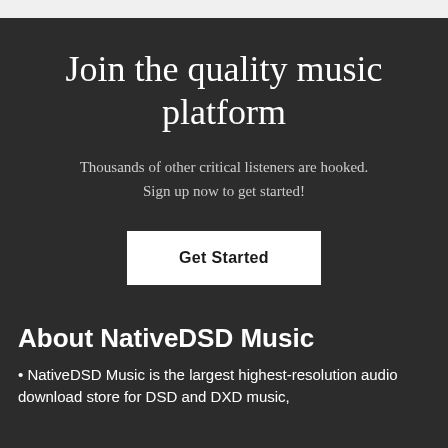Join the quality music platform
Thousands of other critical listeners are hooked. Sign up now to get started!
Get Started
About NativeDSD Music
NativeDSD Music is the largest highest-resolution audio download store for DSD and DXD music,